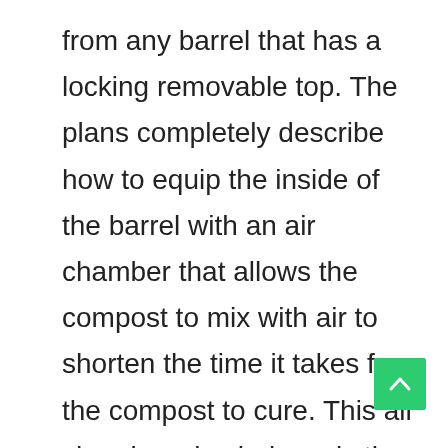from any barrel that has a locking removable top. The plans completely describe how to equip the inside of the barrel with an air chamber that allows the compost to mix with air to shorten the time it takes for the compost to cure. This air chamber also helps mix the yard debris when spinning the barrel. The air chamber can also be used to water the compost in order keep the contents moist. The barrel